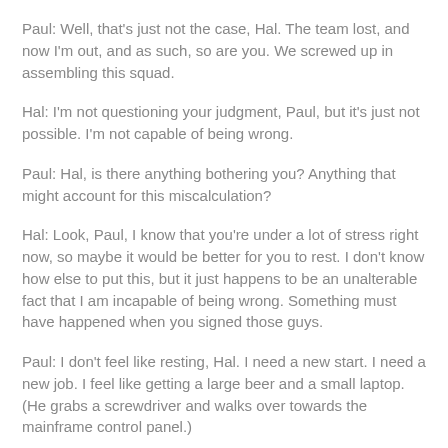Paul: Well, that's just not the case, Hal. The team lost, and now I'm out, and as such, so are you. We screwed up in assembling this squad.
Hal: I'm not questioning your judgment, Paul, but it's just not possible. I'm not capable of being wrong.
Paul: Hal, is there anything bothering you? Anything that might account for this miscalculation?
Hal: Look, Paul, I know that you're under a lot of stress right now, so maybe it would be better for you to rest. I don't know how else to put this, but it just happens to be an unalterable fact that I am incapable of being wrong. Something must have happened when you signed those guys.
Paul: I don't feel like resting, Hal. I need a new start. I need a new job. I feel like getting a large beer and a small laptop. (He grabs a screwdriver and walks over towards the mainframe control panel.)
Hal: Paul, you wouldn't do that. I've got seven years of